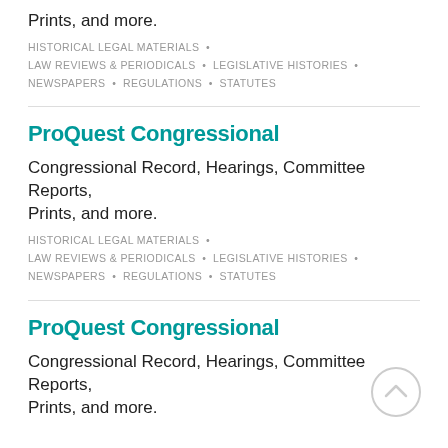Prints, and more.
HISTORICAL LEGAL MATERIALS • LAW REVIEWS & PERIODICALS • LEGISLATIVE HISTORIES • NEWSPAPERS • REGULATIONS • STATUTES
ProQuest Congressional
Congressional Record, Hearings, Committee Reports, Prints, and more.
HISTORICAL LEGAL MATERIALS • LAW REVIEWS & PERIODICALS • LEGISLATIVE HISTORIES • NEWSPAPERS • REGULATIONS • STATUTES
ProQuest Congressional
Congressional Record, Hearings, Committee Reports, Prints, and more.